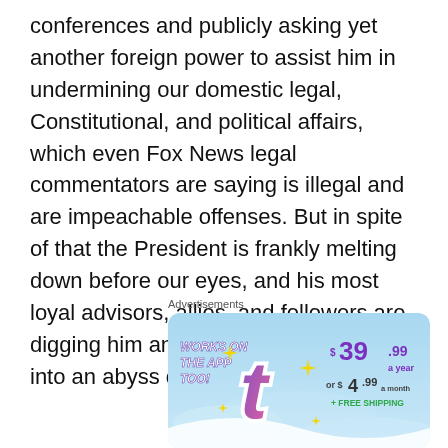conferences and publicly asking yet another foreign power to assist him in undermining our domestic legal, Constitutional, and political affairs, which even Fox News legal commentators are saying is illegal and are impeachable offenses. But in spite of that the President is frankly melting down before our eyes, and his most loyal advisors, allies, and followers are digging him and themselves seeping into an abyss of their own making.
Advertisements
[Figure (illustration): Advertisement banner with light blue sky background. Left side reads 'WORKS ON THE APP TOO!' in white bold italic text. Center shows a pink and purple letter 't' logo with yellow sparkles. Right side shows '$39.99 a year or $4.99 a month + FREE SHIPPING' in purple and green text.]